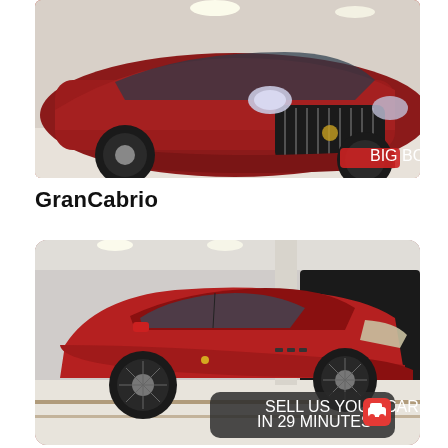[Figure (photo): Front close-up of a red Maserati GranCabrio in a showroom, showing the distinctive Maserati grille and headlights.]
GranCabrio
[Figure (photo): Side view of a red Maserati Gran Turismo coupe parked in a luxury car showroom, with a 'Sell us your car in 29 minutes' badge overlay in the bottom right corner.]